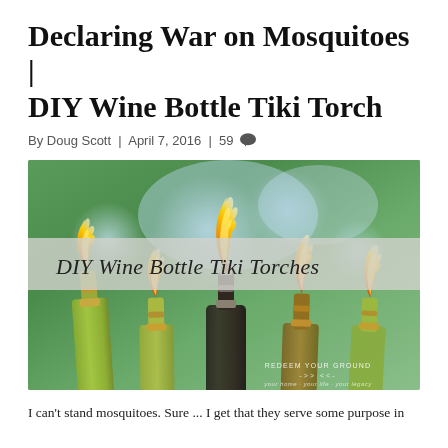Declaring War on Mosquitoes | DIY Wine Bottle Tiki Torch
By Doug Scott | April 7, 2016 | 59 💬
[Figure (photo): Photo of four wine bottles repurposed as tiki torches with lit flames, set against a blurred green garden background. A semi-transparent grey banner overlays the upper portion with the text 'DIY Wine Bottle Tiki Torches'. A small watermark reads 'REDEEM YOUR GROUND' with arrow decorations.]
I can't stand mosquitoes. Sure ... I get that they serve some purpose in